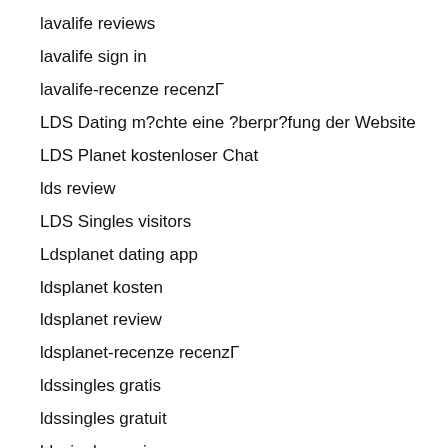lavalife reviews
lavalife sign in
lavalife-recenze recenzΓ
LDS Dating m?chte eine ?berpr?fung der Website
LDS Planet kostenloser Chat
lds review
LDS Singles visitors
Ldsplanet dating app
ldsplanet kosten
ldsplanet review
ldsplanet-recenze recenzΓ
ldssingles gratis
ldssingles gratuit
ldssingles reviews
ldssingles seiten
ldssingles-recenze Recenze
league review
Led Light